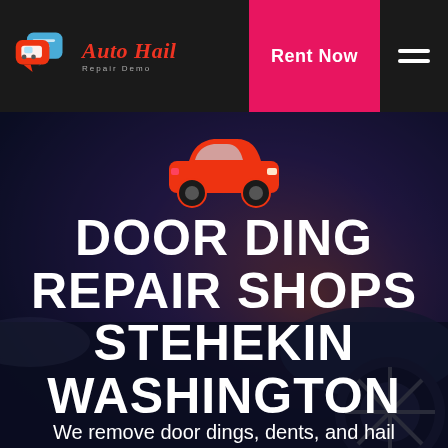[Figure (logo): Auto Hail Repair Demo logo with speech bubble car icons in red, white, blue and brand name in red italic script with tagline 'Repair Demo' in grey]
Rent Now
[Figure (illustration): Dark moody background photo of a car at night with dramatic purple-orange cloudy sky and close-up of alloy wheel]
[Figure (illustration): Red car icon silhouette (font icon)]
DOOR DING REPAIR SHOPS STEHEKIN WASHINGTON
We remove door dings, dents, and hail